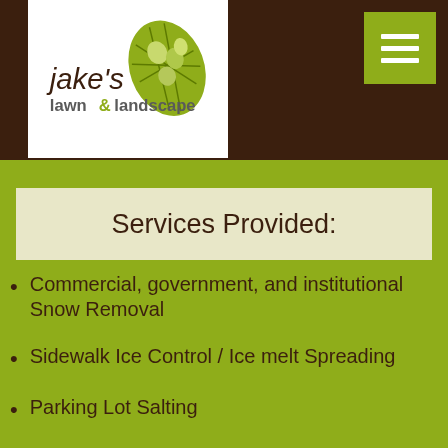Jake's Lawn & Landscape
Services Provided:
Commercial, government, and institutional Snow Removal
Sidewalk Ice Control / Ice melt Spreading
Parking Lot Salting
Snow Hauling